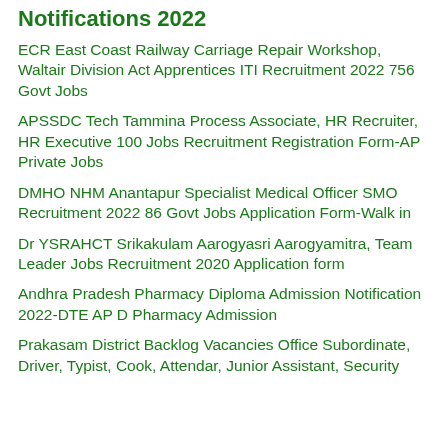AP Govt Jobs 2022- AP Jobs Recruitment Notifications 2022
ECR East Coast Railway Carriage Repair Workshop, Waltair Division Act Apprentices ITI Recruitment 2022 756 Govt Jobs
APSSDC Tech Tammina Process Associate, HR Recruiter, HR Executive 100 Jobs Recruitment Registration Form-AP Private Jobs
DMHO NHM Anantapur Specialist Medical Officer SMO Recruitment 2022 86 Govt Jobs Application Form-Walk in
Dr YSRAHCT Srikakulam Aarogyasri Aarogyamitra, Team Leader Jobs Recruitment 2020 Application form
Andhra Pradesh Pharmacy Diploma Admission Notification 2022-DTE AP D Pharmacy Admission
Prakasam District Backlog Vacancies Office Subordinate, Driver, Typist, Cook, Attendar, Junior Assistant, Security